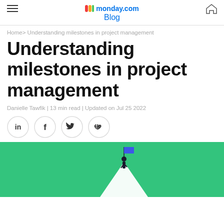monday.com Blog
Home> Understanding milestones in project management
Understanding milestones in project management
Danielle Tawfik | 13 min read | Updated on Jul 25 2022
[Figure (illustration): Social share buttons: LinkedIn, Facebook, Twitter, link/paperclip icons in circular borders]
[Figure (illustration): Green background hero image with a figure holding a blue flag on a white triangular peak]